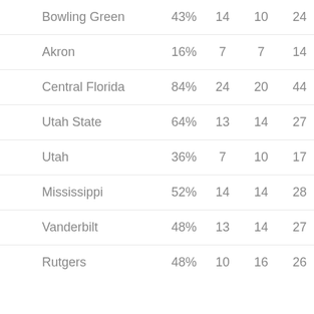| Team | Win% | Col3 | Col4 | Col5 | Col6 |
| --- | --- | --- | --- | --- | --- |
| Bowling Green | 43% | 14 | 10 | 24 | -3. |
| Akron | 16% | 7 | 7 | 14 | 55 |
| Central Florida | 84% | 24 | 20 | 44 | -21 |
| Utah State | 64% | 13 | 14 | 27 | 51 |
| Utah | 36% | 7 | 10 | 17 | -2. |
| Mississippi | 52% | 14 | 14 | 28 | -3 |
| Vanderbilt | 48% | 13 | 14 | 27 | 53 |
| Rutgers | 48% | 10 | 16 | 26 | 54 |